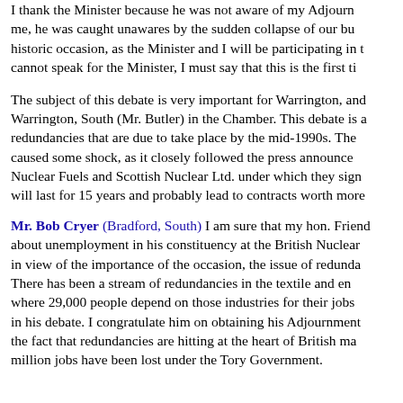I thank the Minister because he was not aware of my Adjourn me, he was caught unawares by the sudden collapse of our bu historic occasion, as the Minister and I will be participating in t cannot speak for the Minister, I must say that this is the first ti
The subject of this debate is very important for Warrington, and Warrington, South (Mr. Butler) in the Chamber. This debate is a redundancies that are due to take place by the mid-1990s. The caused some shock, as it closely followed the press announce Nuclear Fuels and Scottish Nuclear Ltd. under which they sign will last for 15 years and probably lead to contracts worth more
Mr. Bob Cryer (Bradford, South) I am sure that my hon. Friend about unemployment in his constituency at the British Nuclear in view of the importance of the occasion, the issue of redunda There has been a stream of redundancies in the textile and en where 29,000 people depend on those industries for their jobs in his debate. I congratulate him on obtaining his Adjournment the fact that redundancies are hitting at the heart of British ma million jobs have been lost under the Tory Government.